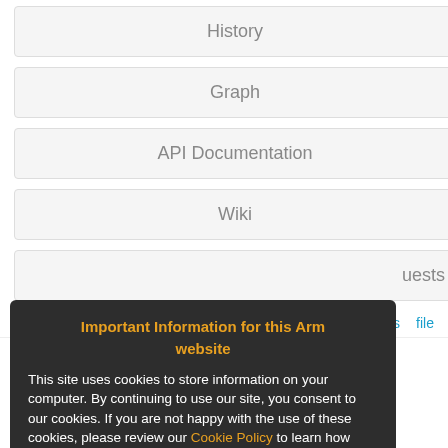History
Graph
API Documentation
Wiki
…uests
f   annotate   revisions   file
wwbluetooth
2017-07-17
Revision:
8c7e77cdcc1e8
[Figure (screenshot): Cookie consent overlay popup with dark background. Title: 'Important Information for this Arm website' in orange bold. Body text about cookies. Orange link 'Cookie Policy'. Yellow 'Accept and hide this message' button.]